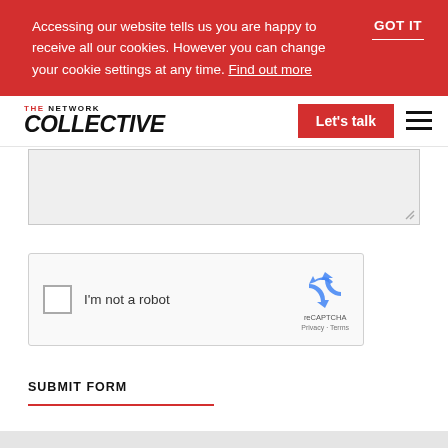Accessing our website tells us you are happy to receive all our cookies. However you can change your cookie settings at any time. Find out more
GOT IT
[Figure (logo): The Network Collective logo - red 'THE NETWORK' above bold black italic 'COLLECTIVE']
Let's talk
[Figure (other): Hamburger menu icon with three horizontal black lines]
[Figure (other): Grey textarea input field with resize handle]
[Figure (other): reCAPTCHA widget with checkbox labeled 'I'm not a robot' and reCAPTCHA logo with Privacy and Terms links]
SUBMIT FORM